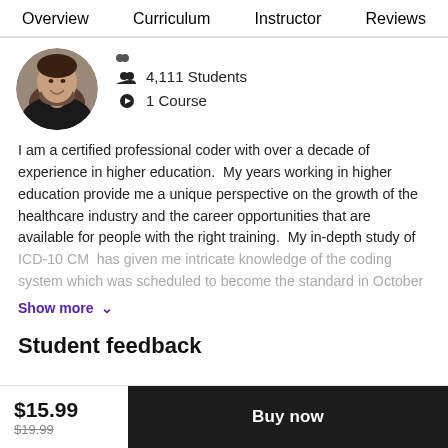Overview   Curriculum   Instructor   Reviews
[Figure (photo): Circular profile photo of a smiling man wearing a black shirt, outdoors background]
4,111 Students
1 Course
I am a certified professional coder with over a decade of experience in higher education.  My years working in higher education provide me a unique perspective on the growth of the healthcare industry and the career opportunities that are available for people with the right training.  My in-depth study of ICD-10 CM  has given me intricate knowledge of the coding system which was scheduled to become the standard in October
Show more ∨
Student feedback
$15.99
$19.99
Buy now